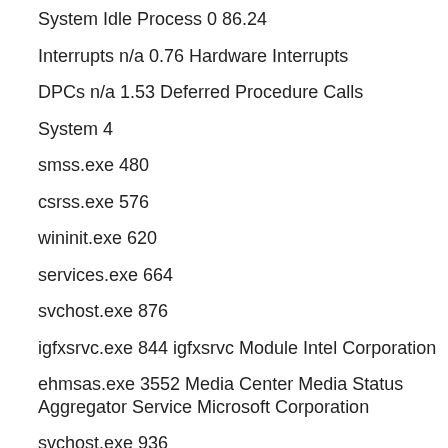System Idle Process 0 86.24
Interrupts n/a 0.76 Hardware Interrupts
DPCs n/a 1.53 Deferred Procedure Calls
System 4
smss.exe 480
csrss.exe 576
wininit.exe 620
services.exe 664
svchost.exe 876
igfxsrvc.exe 844 igfxsrvc Module Intel Corporation
ehmsas.exe 3552 Media Center Media Status Aggregator Service Microsoft Corporation
svchost.exe 936
svchost.exe 980